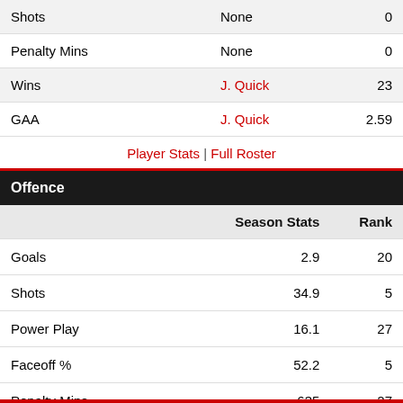|  |  |  |
| --- | --- | --- |
| Shots | None | 0 |
| Penalty Mins | None | 0 |
| Wins | J. Quick | 23 |
| GAA | J. Quick | 2.59 |
Player Stats | Full Roster
Offence
|  | Season Stats | Rank |
| --- | --- | --- |
| Goals | 2.9 | 20 |
| Shots | 34.9 | 5 |
| Power Play | 16.1 | 27 |
| Faceoff % | 52.2 | 5 |
| Penalty Mins | 635 | 27 |